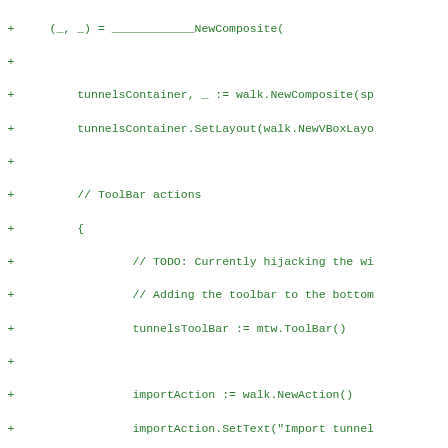Code diff snippet showing additions to tunnel container setup with toolbar actions including importAction, addAction, exportLogAction, and exportTunnelAction in Go/walk framework.